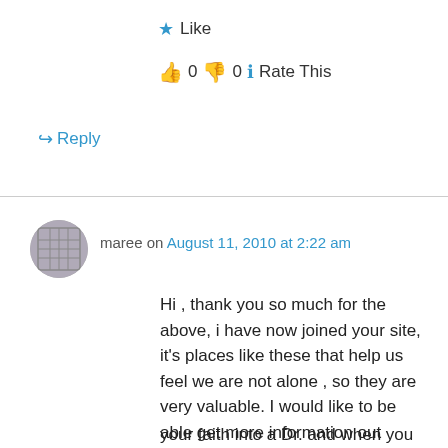★ Like
👍 0 👎 0 ℹ Rate This
↪ Reply
maree on August 11, 2010 at 2:22 am
Hi , thank you so much for the above, i have now joined your site, it's places like these that help us feel we are not alone , so they are very valuable. I would like to be able get more information out
Privacy & Cookies: This site uses cookies. By continuing to use this website, you agree to their use.
To find out more, including how to control cookies, see here: Cookie Policy
Close and accept
your faith into a Dr. and when you tell him your